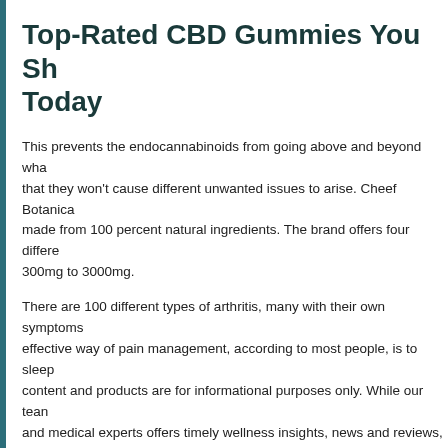Top-Rated CBD Gummies You Sh… Today
This prevents the endocannabinoids from going above and beyond what… that they won't cause different unwanted issues to arise. Cheef Botanica… made from 100 percent natural ingredients. The brand offers four differe… 300mg to 3000mg.
There are 100 different types of arthritis, many with their own symptoms… effective way of pain management, according to most people, is to sleep… content and products are for informational purposes only. While our team… and medical experts offers timely wellness insights, news and reviews, w… advice, diagnoses or treatment. Information provided on Forbes Health i… only.
Lab test results can protect you to an extent, but an even better way to s… CBD gummy brand name. Since the CBD / hemp industry is virtually un… there's no way to stop a company from selling gelatin and Kool-aid and d… Some doctors have even expressed concerns about overdosing CBD—… per day mark. While there is no medical evidence saying for sure, many… Spectrum CBD works better than Broad-Spectrum or CBD Isolate.